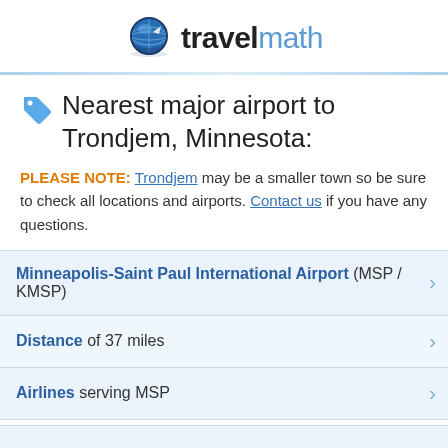travelmath
Nearest major airport to Trondjem, Minnesota:
PLEASE NOTE: Trondjem may be a smaller town so be sure to check all locations and airports. Contact us if you have any questions.
Minneapolis-Saint Paul International Airport (MSP / KMSP)
Distance of 37 miles
Airlines serving MSP